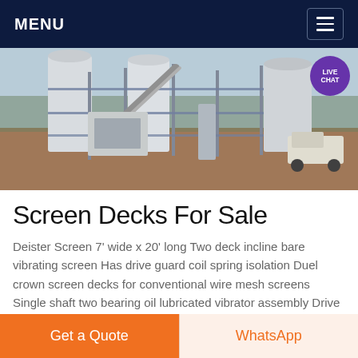MENU
[Figure (photo): Industrial mineral processing plant with large white silos, conveyors, structural steel framework, and a vehicle parked on a dirt site in a rural/mining area. A 'LIVE CHAT' badge is overlaid in the top-right corner.]
Screen Decks For Sale
Deister Screen 7' wide x 20' long Two deck incline bare vibrating screen Has drive guard coil spring isolation Duel crown screen decks for conventional wire mesh screens Single shaft two bearing oil lubricated vibrator assembly Drive con...
Get a Quote
WhatsApp